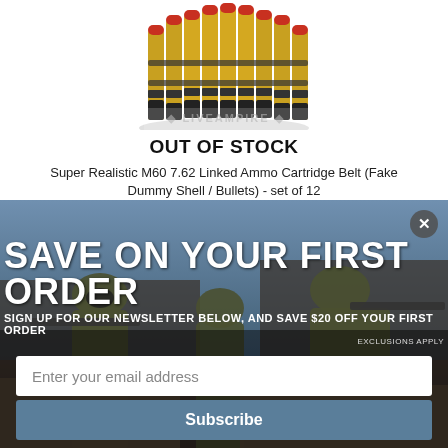[Figure (photo): Linked ammo cartridge belt with gold and black bullets arranged in a bundle, product photo on white background]
OUT OF STOCK
Super Realistic M60 7.62 Linked Ammo Cartridge Belt (Fake Dummy Shell / Bullets) - set of 12
[Figure (photo): Soldiers in camouflage gear aiming rifles, used as background for newsletter signup popup overlay]
SAVE ON YOUR FIRST ORDER
SIGN UP FOR OUR NEWSLETTER BELOW, AND SAVE $20 OFF YOUR FIRST ORDER
EXCLUSIONS APPLY
Enter your email address
Subscribe